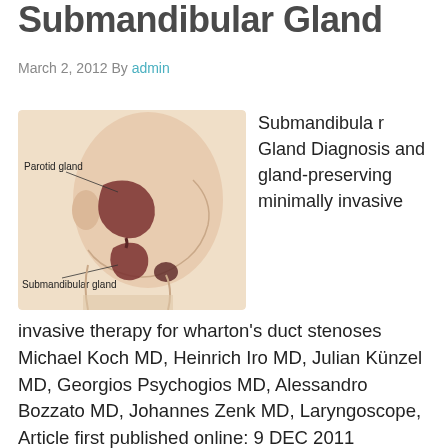Submandibular Gland
March 2, 2012 By admin
[Figure (illustration): Anatomical illustration of the head showing the parotid gland and submandibular gland labeled with lines pointing to their locations on a side-profile view of a human head.]
Submandibular Gland Diagnosis and gland-preserving minimally invasive therapy for wharton's duct stenoses Michael Koch MD, Heinrich Iro MD, Julian Künzel MD, Georgios Psychogios MD, Alessandro Bozzato MD, Johannes Zenk MD, Laryngoscope, Article first published online: 9 DEC 2011 Objectives/Hypothesis: The management of stenoses of Wharton's duct